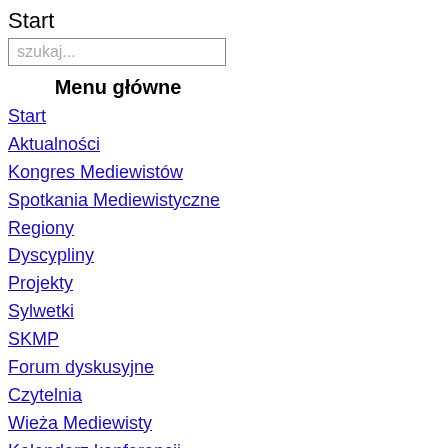Start
szukaj...
Menu główne
Start
Aktualności
Kongres Mediewistów
Spotkania Mediewistyczne
Regiony
Dyscypliny
Projekty
Sylwetki
SKMP
Forum dyskusyjne
Czytelnia
Wieża Mediewisty
Kalendarz konferencji
Popularne
Warszawa
Ryszard Knapiński - Biblia Pauperum - Rzecz o dialogu słowa
R. Knapiński - Myśl średniowieczna o obrazach
Wielkopolska
Zbigniew Kadłubek - "Rajska radość. Św. Piotr Damiani"
Magdalena Sakowska - Łacińskie teksty autorstwa kobiet